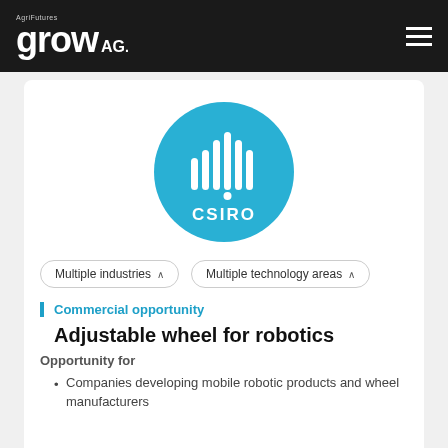AgriFutures grow AG.
[Figure (logo): CSIRO circular logo — teal/cyan circle with white vertical bar chart icon and white 'CSIRO' text below]
Multiple industries ∧   Multiple technology areas ∧
Commercial opportunity
Adjustable wheel for robotics
Opportunity for
Companies developing mobile robotic products and wheel manufacturers